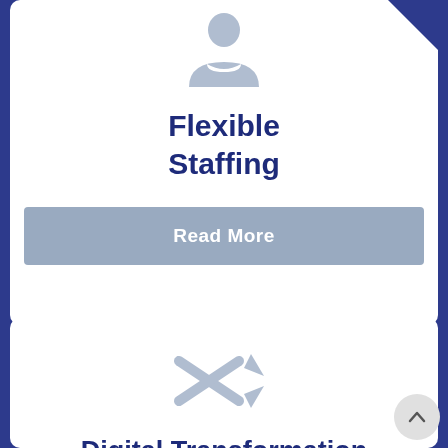[Figure (illustration): Light blue/grey icon of a person silhouette (staffing/people icon) centered at top of white card]
Flexible Staffing
Read More
[Figure (illustration): Light blue/grey icon showing crossing/shuffle arrows (digital transformation icon) centered in second white card]
Digital Transformation